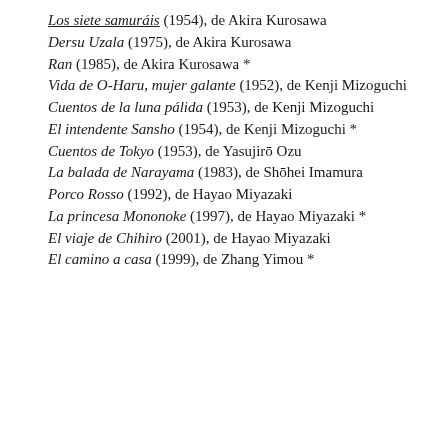Los siete samuráis (1954), de Akira Kurosawa
Dersu Uzala (1975), de Akira Kurosawa
Ran (1985), de Akira Kurosawa *
Vida de O-Haru, mujer galante (1952), de Kenji Mizoguchi
Cuentos de la luna pálida (1953), de Kenji Mizoguchi
El intendente Sansho (1954), de Kenji Mizoguchi *
Cuentos de Tokyo (1953), de Yasujirō Ozu
La balada de Narayama (1983), de Shōhei Imamura
Porco Rosso (1992), de Hayao Miyazaki
La princesa Mononoke (1997), de Hayao Miyazaki *
El viaje de Chihiro (2001), de Hayao Miyazaki
El camino a casa (1999), de Zhang Yimou *